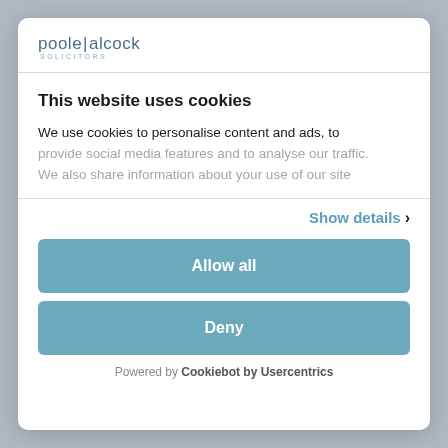[Figure (logo): Poole Alcock Solicitors logo in blue-grey text]
This website uses cookies
We use cookies to personalise content and ads, to provide social media features and to analyse our traffic. We also share information about your use of our site
Show details ›
Allow all
Deny
Powered by Cookiebot by Usercentrics